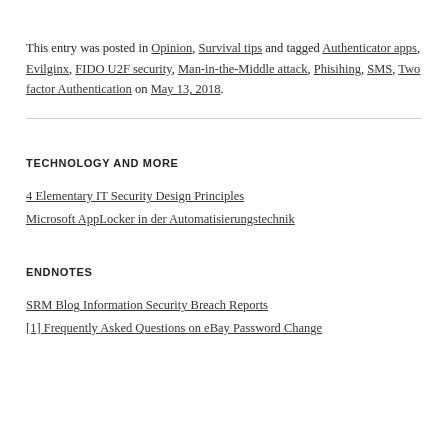This entry was posted in Opinion, Survival tips and tagged Authenticator apps, Evilginx, FIDO U2F security, Man-in-the-Middle attack, Phisihing, SMS, Two factor Authentication on May 13, 2018.
TECHNOLOGY AND MORE
4 Elementary IT Security Design Principles
Microsoft AppLocker in der Automatisierungstechnik
ENDNOTES
SRM Blog Information Security Breach Reports
[1] Frequently Asked Questions on eBay Password Change